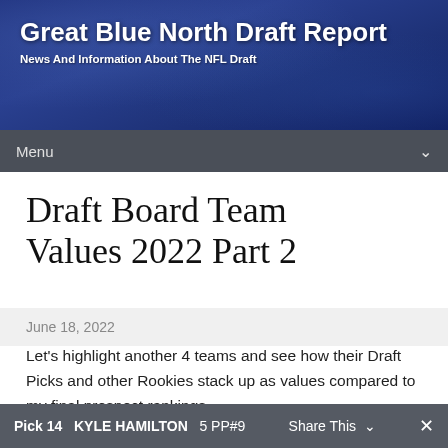Great Blue North Draft Report
News And Information About The NFL Draft
Menu
Draft Board Team Values 2022 Part 2
June 18, 2022
Let's highlight another 4 teams and see how their Draft Picks and other Rookies stack up as values compared to my final prospect rankings.
BALTIMORE RAVENS       11 Picks,  4 RFA
Pick 14    KYLE HAMILTON    5 PP#9
Share This